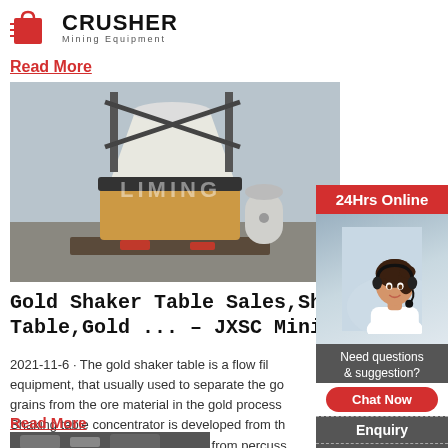[Figure (logo): Crusher Mining Equipment logo with red shopping bag icon and bold CRUSHER text]
Read More
[Figure (photo): Large white cone crusher machine in a factory/warehouse setting with LIMING watermark]
Gold Shaker Table Sales,Shaking Table,Gold ... - JXSC Mining
2021-11-6 · The gold shaker table is a flow fil equipment, that usually used to separate the go grains from the ore material in the gold process Shaking table concentrator is developed from th stationary and movable chute box, from percus table ( used in the coal mining industry) to the w and mineral processing eccentric rod shaker tab
Read More
[Figure (photo): Bottom partial image strip of machinery]
[Figure (photo): Right sidebar with 24Hrs Online header, customer service photo of woman with headset, Need questions & suggestion text, Chat Now button, Enquiry section, limingjlmofen@sina.com email]